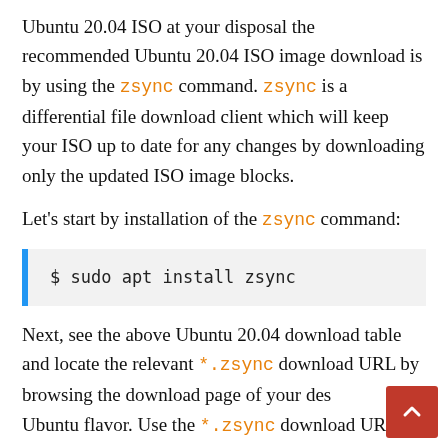Ubuntu 20.04 ISO at your disposal the recommended Ubuntu 20.04 ISO image download is by using the zsync command. zsync is a differential file download client which will keep your ISO up to date for any changes by downloading only the updated ISO image blocks.
Let's start by installation of the zsync command:
$ sudo apt install zsync
Next, see the above Ubuntu 20.04 download table and locate the relevant *.zsync download URL by browsing the download page of your desired Ubuntu flavor. Use the *.zsync download URL as